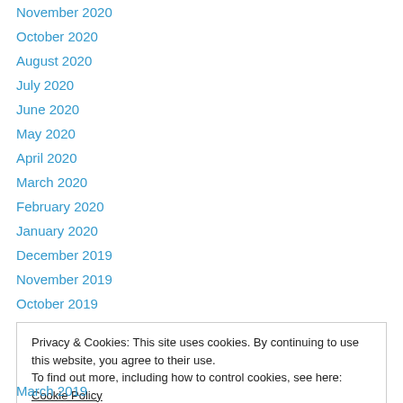November 2020
October 2020
August 2020
July 2020
June 2020
May 2020
April 2020
March 2020
February 2020
January 2020
December 2019
November 2019
October 2019
Privacy & Cookies: This site uses cookies. By continuing to use this website, you agree to their use. To find out more, including how to control cookies, see here: Cookie Policy
Close and accept
March 2019